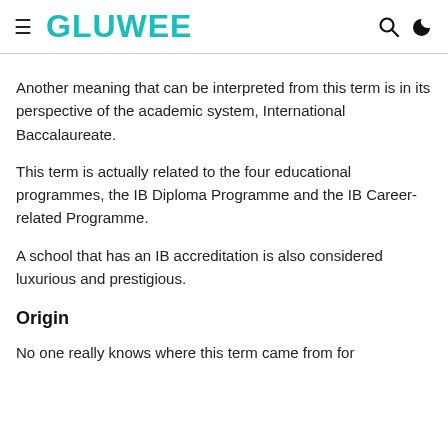GLUWEE
Another meaning that can be interpreted from this term is in its perspective of the academic system, International Baccalaureate.
This term is actually related to the four educational programmes, the IB Diploma Programme and the IB Career-related Programme.
A school that has an IB accreditation is also considered luxurious and prestigious.
Origin
No one really knows where this term came from for